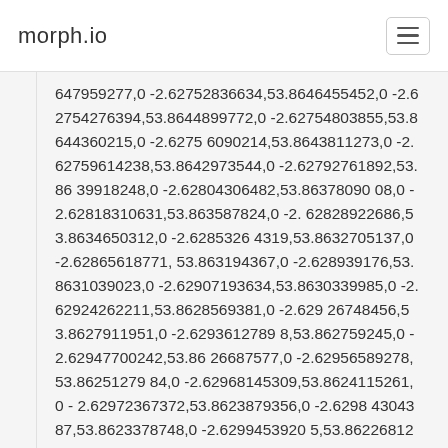morph.io
647959277,0 -2.62752836634,53.8646455452,0 -2.62754276394,53.8644899772,0 -2.62754803855,53.8644360215,0 -2.62756090214,53.8643811273,0 -2.62759614238,53.8642973544,0 -2.62792761892,53.8639918248,0 -2.62804306482,53.8637809008,0 -2.62818310631,53.863587824,0 -2.62828922686,53.8634650312,0 -2.62853264319,53.8632705137,0 -2.62865618771,53.863194367,0 -2.628939176,53.8631039023,0 -2.62907193634,53.8630339985,0 -2.62924262211,53.8628569381,0 -2.62926748456,53.8627911951,0 -2.62936127898,53.862759245,0 -2.62947700242,53.8626687577,0 -2.62956589278,53.8625127984,0 -2.62968145309,53.8624115261,0 -2.62972367372,53.8623879356,0 -2.62984304387,53.8623378748,0 -2.62994539205,53.8622681296,0 -2.62999432296,53.8621851829,0 -2.62988573921,53.86214350